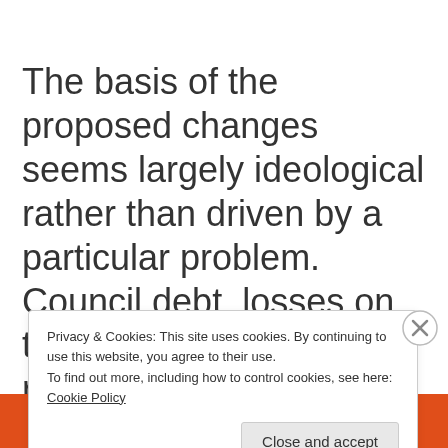The basis of the proposed changes seems largely ideological rather than driven by a particular problem. Council debt, losses on tourist initiatives and rates rises above the rate of inflation are...
Privacy & Cookies: This site uses cookies. By continuing to use this website, you agree to their use.
To find out more, including how to control cookies, see here: Cookie Policy
[Close and accept]
[Figure (screenshot): DuckDuckGo advertisement banner at the bottom with orange background, text 'more privacy', 'All in One Free App' button, and DuckDuckGo logo]